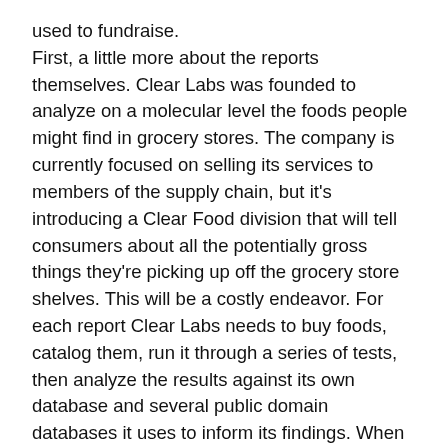used to fundraise. First, a little more about the reports themselves. Clear Labs was founded to analyze on a molecular level the foods people might find in grocery stores. The company is currently focused on selling its services to members of the supply chain, but it's introducing a Clear Food division that will tell consumers about all the potentially gross things they're picking up off the grocery store shelves. This will be a costly endeavor. For each report Clear Labs needs to buy foods, catalog them, run it through a series of tests, then analyze the results against its own database and several public domain databases it uses to inform its findings. When all this is done the company will assign different brands a Clear Score ranging from zero to 100, which is supposed to indicate the accuracy of the brand's labeling in terms of ingredients, nutrients, and other information. Clear Labs estimates this will cost $10,000 per report;